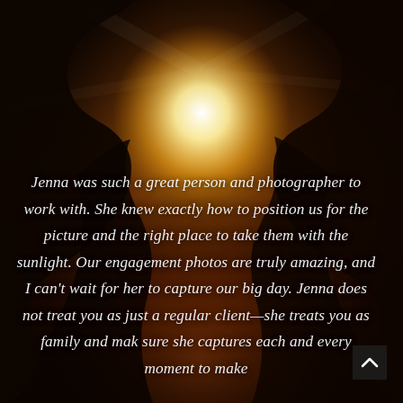[Figure (photo): Warm golden-sepia toned photograph of two silhouetted people facing each other closely (couple about to kiss), backlit by bright sunlight streaming through a window, creating a dramatic glowing halo effect with warm orange and amber tones throughout the image.]
Jenna was such a great person and photographer to work with. She knew exactly how to position us for the picture and the right place to take them with the sunlight. Our engagement photos are truly amazing, and I can't wait for her to capture our big day. Jenna does not treat you as just a regular client—she treats you as family and make sure she captures each and every moment to make